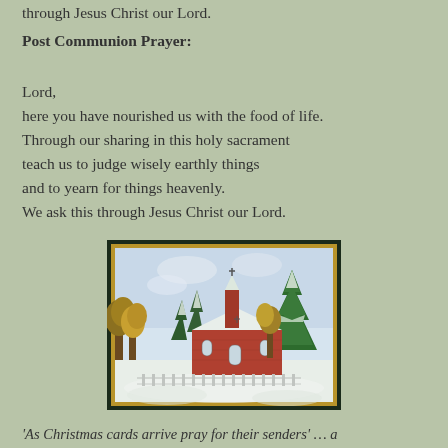through Jesus Christ our Lord.
Post Communion Prayer:
Lord,
here you have nourished us with the food of life.
Through our sharing in this holy sacrament
teach us to judge wisely earthly things
and to yearn for things heavenly.
We ask this through Jesus Christ our Lord.
[Figure (illustration): Watercolor-style illustration of a red-brick church in winter with snow on the roof and ground, surrounded by green fir trees and autumn-colored deciduous trees, with a steeple bearing a cross. A white picket fence runs along the front.]
'As Christmas cards arrive pray for their senders' … a